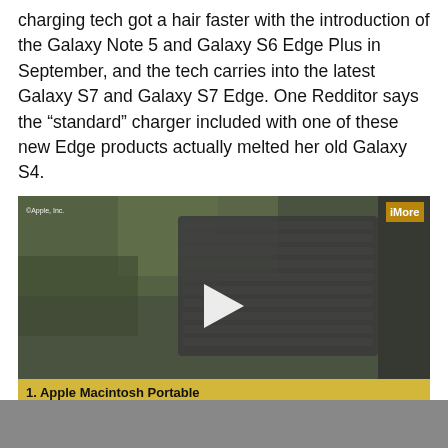charging tech got a hair faster with the introduction of the Galaxy Note 5 and Galaxy S6 Edge Plus in September, and the tech carries into the latest Galaxy S7 and Galaxy S7 Edge. One Redditor says the “standard” charger included with one of these new Edge products actually melted her old Galaxy S4.
[Figure (screenshot): Video thumbnail showing an Apple device, with a play button in the center, a copyright notice '©Apple, Inc.' in the top left, an 'iMore' yellow badge in the top right, and a gold caption bar at the bottom reading '1. Apple Macintosh Portable']